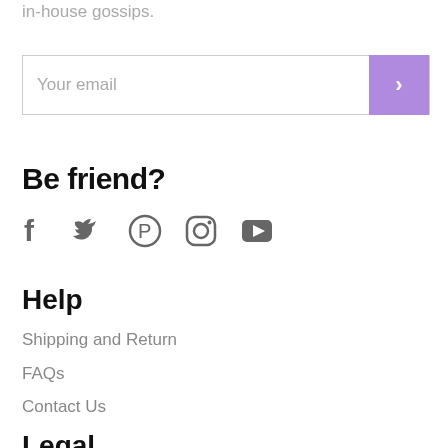in-house gossips.
[Figure (other): Email input field with purple submit arrow button]
Be friend?
[Figure (other): Social media icons: Facebook, Twitter, Pinterest, Instagram, YouTube]
Help
Shipping and Return
FAQs
Contact Us
Legal